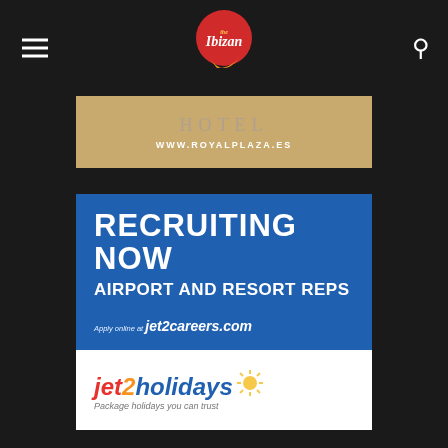[Figure (logo): The Ibizan website header with hamburger menu, the Ibizan logo (red circular icon), and search icon on dark background]
[Figure (photo): Hotel Royal Plaza advertisement showing hotel sign and text WWW.ROYALPLAZA.ES on gold background]
[Figure (infographic): Jet2 recruiting advertisement: blue section with RECRUITING NOW AIRPORT AND RESORT REPS text and Apply online at jet2careers.com; white section with Jet2holidays logo and tagline Package holidays you can trust]